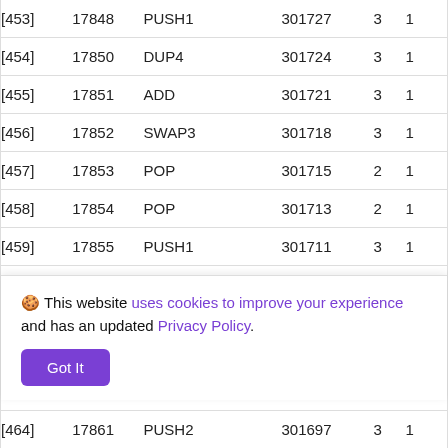| index | addr | op | num | n1 | n2 |
| --- | --- | --- | --- | --- | --- |
| [453] | 17848 | PUSH1 | 301727 | 3 | 1 |
| [454] | 17850 | DUP4 | 301724 | 3 | 1 |
| [455] | 17851 | ADD | 301721 | 3 | 1 |
| [456] | 17852 | SWAP3 | 301718 | 3 | 1 |
| [457] | 17853 | POP | 301715 | 2 | 1 |
| [458] | 17854 | POP | 301713 | 2 | 1 |
| [459] | 17855 | PUSH1 | 301711 | 3 | 1 |
| [460] | 17857 | DUP2 | 301708 | 3 | 1 |
| [461] | 17858 | ADD | 301705 | 3 | 1 |
| [464] | 17861 | PUSH2 | 301697 | 3 | 1 |
This website uses cookies to improve your experience and has an updated Privacy Policy.